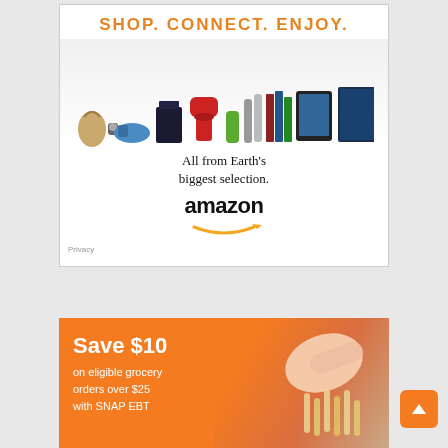[Figure (illustration): Amazon advertisement banner with orange header 'SHOP. CONNECT. ENJOY.' and various product images (handbag, shoes, watch, PlayStation, KitchenAid mixer, smoothie, books, Kindle tablet, Star Trek Blu-ray). Text reads 'All from Earth's biggest selection.' with Amazon logo and smile. Privacy link in bottom left.]
[Figure (illustration): Orange Amazon Fresh/grocery banner advertisement. Text: 'Save $10 on eligible grocery orders over $25 with SNAP EBT'. Background shows hands handling pasta/food items. Orange back-to-top arrow button in bottom right corner.]